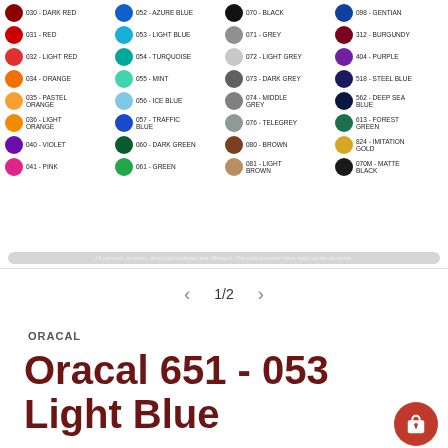[Figure (infographic): Color swatch chart showing Oracal 651 vinyl colors arranged in a 4-column grid. Each entry shows a colored circle and a code/name label. Colors include: 030-Dark Red, 031-Red, 032-Light Red, 034-Orange, 035-Pastel Orange, 036-Light Orange, 040-Violet, 041-Pink, 052-Azure Blue, 053-Light Blue, 054-Turquoise, 055-Mint, 056-Ice Blue, 057-Traffic Blue, 060-Dark Green, 061-Green, 070-Black, 071-Grey, 072-Light Grey, 073-Dark Grey, 074-Middle Grey, 076-Telegrey, 080-Brown, 081-Light Brown, 098-Gentian, 312-Burgundy, 404-Purple, 518-Steel Blue, 562-Deep Sea Blue, 613-Forest Green, 824-Imitation Gold, 070M-Matte Black. Disclaimer text at bottom reads: All printers, screens, and color palettes are different. The colors shown here may not be accurate.]
1/2
ORACAL
Oracal 651 - 053 Light Blue